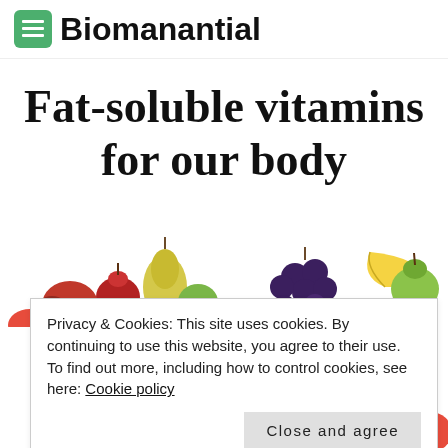Biomanantial
Fat-soluble vitamins for our body
[Figure (photo): Row of various fruits including pear, apple, grapes, banana, and green apple on white background]
Privacy & Cookies: This site uses cookies. By continuing to use this website, you agree to their use.
To find out more, including how to control cookies, see here: Cookie policy
Close and agree
[Figure (photo): Bottom strip of fruits including red peppers, tomatoes, broccoli, and onion on white background]